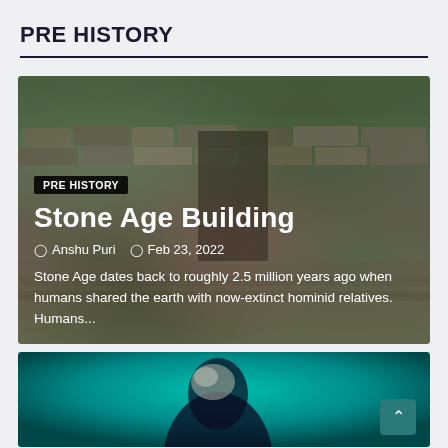PRE HISTORY
[Figure (photo): Stone Age building ruins — ancient stone walls and passages with grass in background, article card for 'Stone Age Building' by Anshu Puri, Feb 23, 2022]
Stone Age Building
Anshu Puri   Feb 23, 2022
Stone Age dates back to roughly 2.5 million years ago when humans shared the earth with now-extinct hominid relatives.  Humans...
[Figure (photo): Second article card showing a figure or face with teal/cyan colored background]